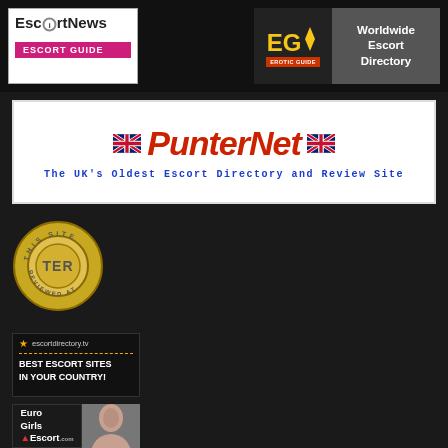[Figure (logo): EscortNews Escort Guide logo - white background with pink bar]
[Figure (logo): EG Erotic Guide / Worldwide Escort Directory banner]
[Figure (logo): PunterNet - The UK's Oldest Escort Directory and Review Site banner]
[Figure (logo): TER (The Erotic Review) gold badge - THIS SITE REVIEWED AT]
[Figure (logo): escortdirectory.tv - BEST ESCORT SITES IN YOUR COUNTRY! banner]
[Figure (logo): Euro Girls Escort banner with woman photo]